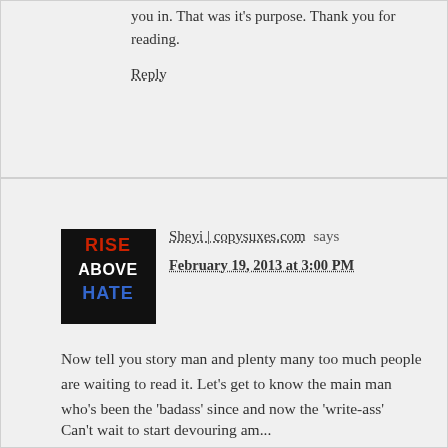you in. That was it's purpose. Thank you for reading.
Reply
Sheyi | copysuxes.com says
February 19, 2013 at 3:00 PM
Now tell you story man and plenty many too much people are waiting to read it. Let's get to know the main man who's been the 'badass' since and now the 'write-ass'
Can't wait to start devouring am...